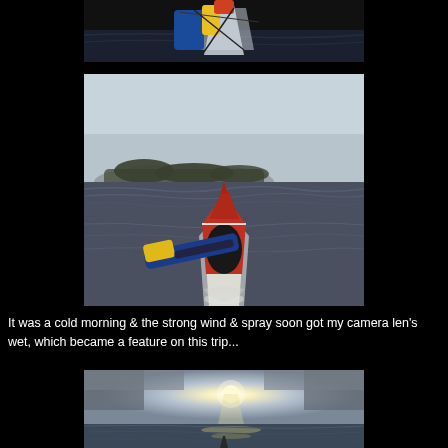[Figure (photo): Top portion of photo showing kayak bow with colorful gear/canopy (blue, yellow) on dark water, viewed from cockpit]
[Figure (photo): Middle photo: View from behind a red-and-white sea kayak paddling on choppy grey water with misty treeline on horizon; yellow-and-blue paddle visible in foreground]
It was a cold morning & the strong wind & spray soon got my camera len's wet, which became a feature on this trip...
[Figure (photo): Bottom photo: Sun breaking through clouds over a calm sea/estuary, dramatic sky with silver light reflecting on water, kayak bow tip visible at bottom]